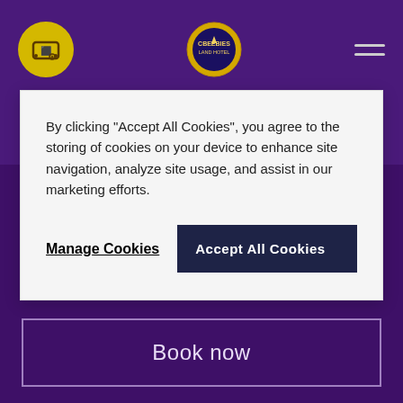[Figure (logo): Yellow circular ticket/coupon icon logo on top left]
[Figure (logo): CBeebies Land hotel circular crest logo in top center]
By clicking "Accept All Cookies", you agree to the storing of cookies on your device to enhance site navigation, analyze site usage, and assist in our marketing efforts.
Manage Cookies
Accept All Cookies
Step into this universe of joy and discover exciting adventures that little ones will adore. Welcome to the UK's only CBeebies Land hotel, specially designed for young families. Here, small is awesome!
Book now